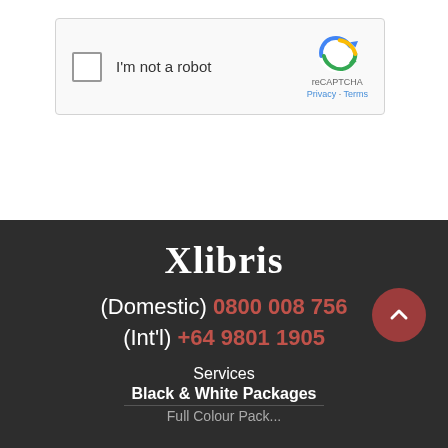[Figure (screenshot): reCAPTCHA widget with checkbox labeled 'I'm not a robot' and reCAPTCHA logo]
Submit Review
Xlibris
(Domestic) 0800 008 756
(Int'l) +64 9801 1905
Services
Black & White Packages
Full Colour Pack...